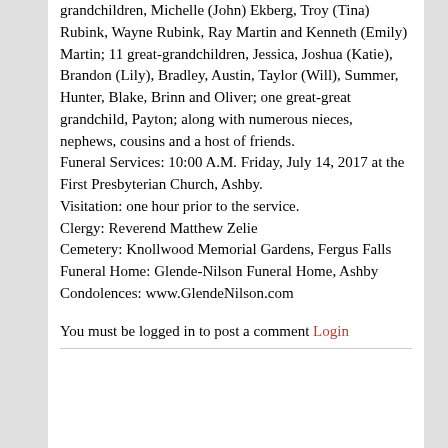grandchildren, Michelle (John) Ekberg, Troy (Tina) Rubink, Wayne Rubink, Ray Martin and Kenneth (Emily) Martin; 11 great-grandchildren, Jessica, Joshua (Katie), Brandon (Lily), Bradley, Austin, Taylor (Will), Summer, Hunter, Blake, Brinn and Oliver; one great-great grandchild, Payton; along with numerous nieces, nephews, cousins and a host of friends. Funeral Services: 10:00 A.M. Friday, July 14, 2017 at the First Presbyterian Church, Ashby. Visitation: one hour prior to the service. Clergy: Reverend Matthew Zelie Cemetery: Knollwood Memorial Gardens, Fergus Falls Funeral Home: Glende-Nilson Funeral Home, Ashby Condolences: www.GlendeNilson.com
You must be logged in to post a comment Login